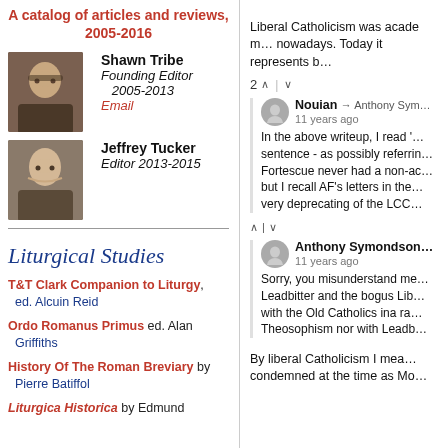A catalog of articles and reviews, 2005-2016
Shawn Tribe
Founding Editor 2005-2013
Email
Jeffrey Tucker
Editor 2013-2015
Liturgical Studies
T&T Clark Companion to Liturgy, ed. Alcuin Reid
Ordo Romanus Primus ed. Alan Griffiths
History Of The Roman Breviary by Pierre Batiffol
Liturgica Historica by Edmund
Liberal Catholicism was academ… nowadays. Today it represents b…
2 ^ | v
Nouian → Anthony Sym…
11 years ago
In the above writeup, I read '… sentence - as possibly referrin… Fortescue never had a non-ac… but I recall AF's letters in the… very deprecating of the LCC…
^ | v
Anthony Symondson…
11 years ago
Sorry, you misunderstand me… Leadbitter and the bogus Lib… with the Old Catholics ina ra… Theosophism nor with Leadb…
By liberal Catholicism I mea… condemned at the time as Mo…